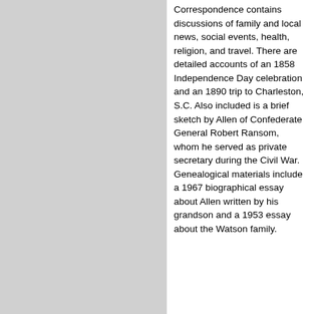Correspondence contains discussions of family and local news, social events, health, religion, and travel. There are detailed accounts of an 1858 Independence Day celebration and an 1890 trip to Charleston, S.C. Also included is a brief sketch by Allen of Confederate General Robert Ransom, whom he served as private secretary during the Civil War. Genealogical materials include a 1967 biographical essay about Allen written by his grandson and a 1953 essay about the Watson family.